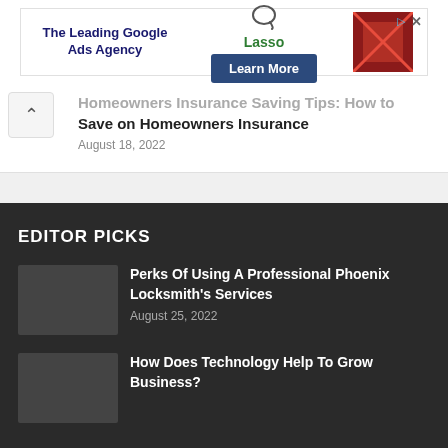[Figure (screenshot): Advertisement banner for Lasso Google Ads Agency with a speech bubble icon, Lasso branding, Learn More button, and a partial image on the right.]
Homeowners Insurance Saving Tips: How to Save on Homeowners Insurance
August 18, 2022
EDITOR PICKS
Perks Of Using A Professional Phoenix Locksmith's Services
August 25, 2022
How Does Technology Help To Grow Business?